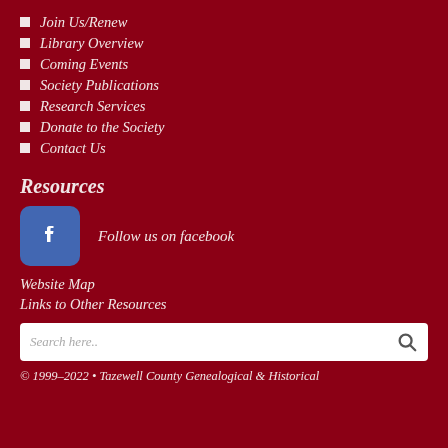Join Us/Renew
Library Overview
Coming Events
Society Publications
Research Services
Donate to the Society
Contact Us
Resources
[Figure (logo): Facebook icon button - blue rounded square with white 'f' letter]
Follow us on facebook
Website Map
Links to Other Resources
Search here..
© 1999–2022 • Tazewell County Genealogical & Historical